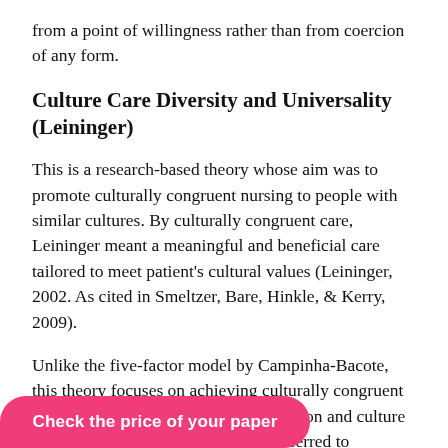from a point of willingness rather than from coercion of any form.
Culture Care Diversity and Universality (Leininger)
This is a research-based theory whose aim was to promote culturally congruent nursing to people with similar cultures. By culturally congruent care, Leininger meant a meaningful and beneficial care tailored to meet patient's cultural values (Leininger, 2002. As cited in Smeltzer, Bare, Hinkle, & Kerry, 2009).
Unlike the five-factor model by Campinha-Bacote, this theory focuses on achieving culturally congruent care through culture care accommodation and culture care restructuring. By referred to actions on behalf of the
Check the price of your paper